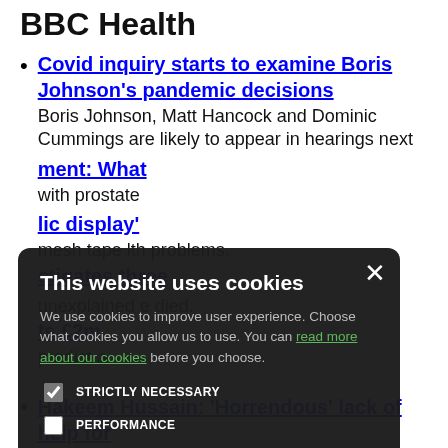BBC Health
Covid inquiry starts to examine Boris Johnson's pandemic decisions — Boris Johnson, Matt Hancock and Dominic Cummings are likely to appear in hearings next
[partial link: ment: What] with prostate
[partial link: lic display'] mesh tape lth problems. [partial link: stigates three]
unexplained e died. [partial link: ts £2m] predict a
[Figure (screenshot): Cookie consent modal overlay on dark background. Title: 'This website uses cookies'. Body text: 'We use cookies to improve user experience. Choose what cookies you allow us to use. You can read more about our cookies before you choose.' Four checkboxes: STRICTLY NECESSARY (checked), PERFORMANCE (unchecked), TARGETING (unchecked), FUNCTIONALITY (unchecked). Two buttons: ACCEPT ALL (green) and DECLINE ALL (white outline).]
Hakeem Hussain: 'Horrendous' lack of help for